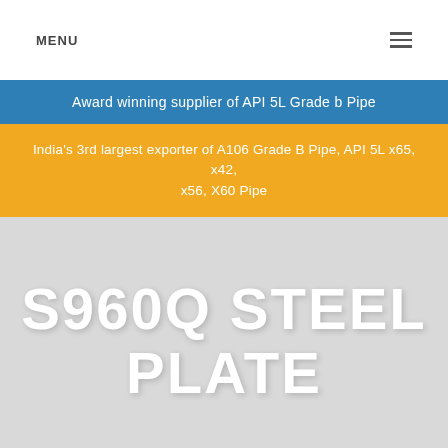MENU
Award winning supplier of API 5L Grade b Pipe
India's 3rd largest exporter of A106 Grade B Pipe, API 5L x65, x42, x56, X60 Pipe
S960Q STEEL PLATE